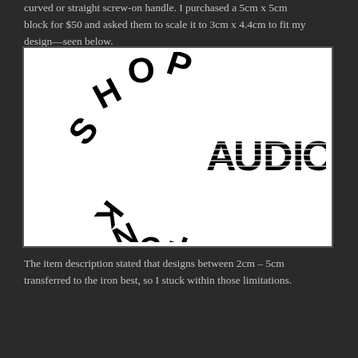curved or straight screw-on handle. I purchased a 5cm x 5cm block for $50 and asked them to scale it to 3cm x 4.4cm to fit my design—seen below.
[Figure (logo): Shop Funky Audio logo: the words SHOP and FUNKY are arranged in a circular arc on the left side (SHOP arcing over the top-left, FUNKY inverted along the bottom-left), and AUDIO appears in a striped/hatched bold font on the right side. Black text on white background.]
The item description stated that designs between 2cm – 5cm transferred to the iron best, so I stuck within those limitations.